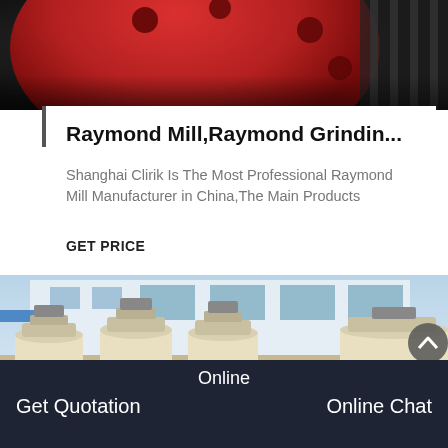[Figure (photo): Close-up photo of a red grinding disc/wheel on dark background, industrial milling equipment]
Raymond Mill,Raymond Grindin...
Shanghai Clirik Is The Most Professional Raymond Mill Manufacturer in China,The Main Products
GET PRICE
[Figure (photo): Factory photo showing multiple large industrial Raymond mill grinder machines in cream/beige color with red accents, white factory building in background]
Online
Get Quotation
Online Chat